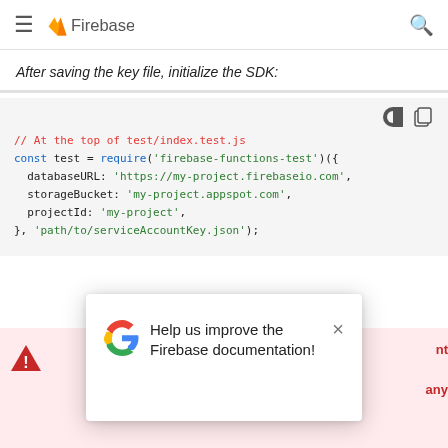Firebase
After saving the key file, initialize the SDK:
[Figure (screenshot): Code block showing JavaScript snippet: // At the top of test/index.test.js
const test = require('firebase-functions-test')({
  databaseURL: 'https://my-project.firebaseio.com',
  storageBucket: 'my-project.appspot.com',
  projectId: 'my-project',
}, 'path/to/serviceAccountKey.json');]
[Figure (screenshot): Modal dialog with Google G logo, text 'Help us improve the Firebase documentation!' and a close X button, overlaying a warning/error bar.]